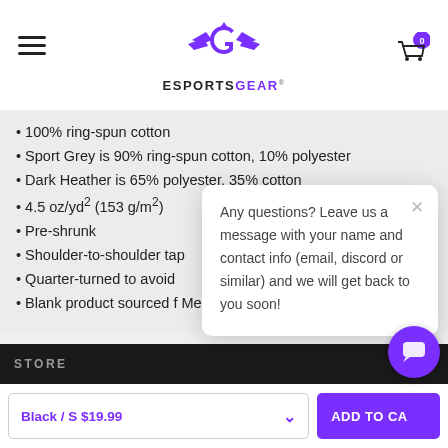ESPORTSGEAR
100% ring-spun cotton
Sport Grey is 90% ring-spun cotton, 10% polyester
Dark Heather is 65% polyester, 35% cotton
4.5 oz/yd² (153 g/m²)
Pre-shrunk
Shoulder-to-shoulder tape
Quarter-turned to avoid
Blank product sourced from Mexico, or Nicaragua
Any questions? Leave us a message with your name and contact info (email, discord or similar) and we will get back to you soon!
STORE
Black / S $19.99
ADD TO CART